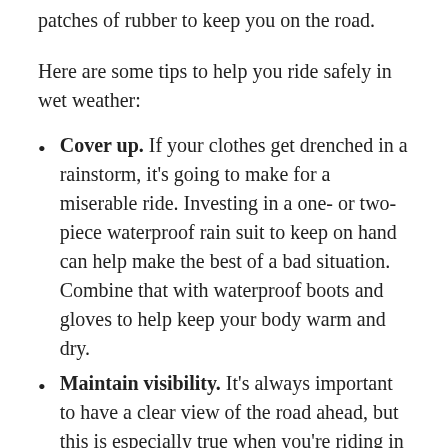patches of rubber to keep you on the road.
Here are some tips to help you ride safely in wet weather:
Cover up. If your clothes get drenched in a rainstorm, it's going to make for a miserable ride. Investing in a one- or two-piece waterproof rain suit to keep on hand can help make the best of a bad situation. Combine that with waterproof boots and gloves to help keep your body warm and dry.
Maintain visibility. It's always important to have a clear view of the road ahead, but this is especially true when you're riding in the rain. Wear a full-face helmet with good ventilation and make sure the visor has an antifog coating